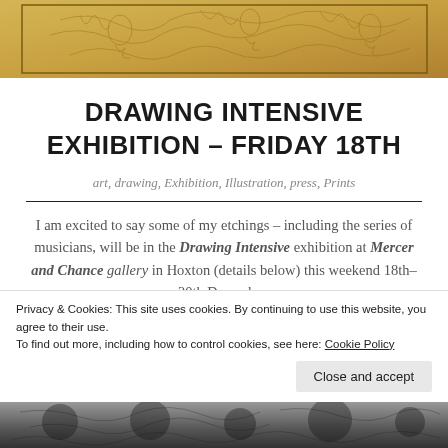[Figure (illustration): Sepia-toned etching or drawing on golden-yellow background, showing figures in a sketchy illustrative style]
DRAWING INTENSIVE EXHIBITION – FRIDAY 18TH
art, drawing, Exhibition, Illustration, press, Prints
I am excited to say some of my etchings – including the series of musicians, will be in the Drawing Intensive exhibition at Mercer and Chance gallery in Hoxton (details below) this weekend 18th-20th December
Privacy & Cookies: This site uses cookies. By continuing to use this website, you agree to their use.
To find out more, including how to control cookies, see here: Cookie Policy
[Figure (illustration): Black and white etching/drawing visible at bottom of page]